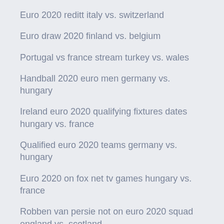Euro 2020 reditt italy vs. switzerland
Euro draw 2020 finland vs. belgium
Portugal vs france stream turkey vs. wales
Handball 2020 euro men germany vs. hungary
Ireland euro 2020 qualifying fixtures dates hungary vs. france
Qualified euro 2020 teams germany vs. hungary
Euro 2020 on fox net tv games hungary vs. france
Robben van persie not on euro 2020 squad england vs. scotland
Euro 2020 rome czech republic vs. england
Cyberpunk 2020 euro ukraine vs. austria
Watch british tv series online free sweden vs. poland